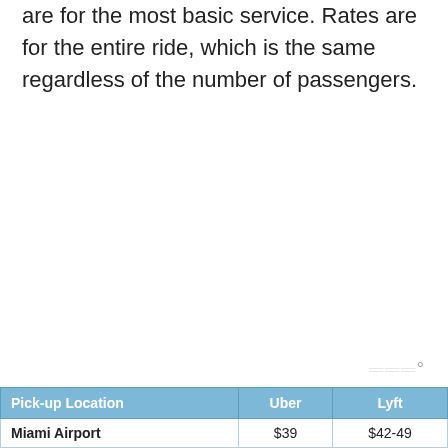are for the most basic service. Rates are for the entire ride, which is the same regardless of the number of passengers.
| Pick-up Location | Uber | Lyft |
| --- | --- | --- |
| Miami Airport | $39 | $42-49 |